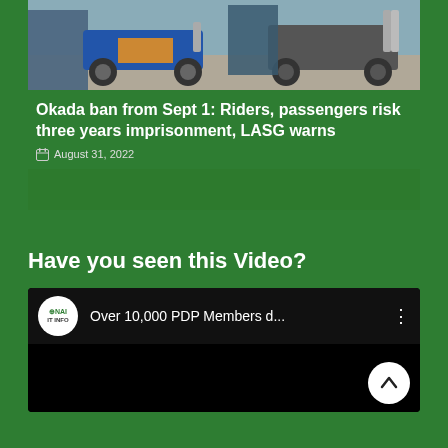[Figure (photo): Photograph of motorcycles (okada riders) parked or in use, partially cropped at top of page]
Okada ban from Sept 1: Riders, passengers risk three years imprisonment, LASG warns
August 31, 2022
Have you seen this Video?
[Figure (screenshot): YouTube video embed showing channel logo with HNAJI / IT INFO text, video title 'Over 10,000 PDP Members d...' with three-dot menu icon, and black video thumbnail area. A white circular scroll-to-top arrow button is visible in bottom right.]